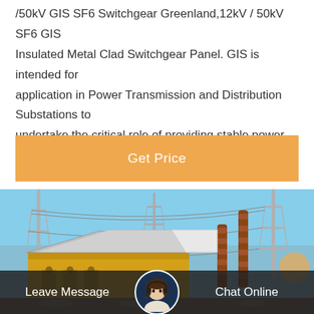/50kV GIS SF6 Switchgear Greenland,12kV / 50kV SF6 GIS Insulated Metal Clad Switchgear Panel. GIS is intended for application in Power Transmission and Distribution Substations to undertake the critical role of providing stable power supply to the Grid. GIS offers various advantages in terms of compact size, minimal maintenance, high product quality with reliable operation, ease
Get Price
[Figure (photo): Photograph of an electrical substation with transformers, high-voltage transmission towers, insulators and heavy electrical equipment. A mobile substation unit and various high-voltage components are visible against a blue sky.]
Leave Message
Chat Online